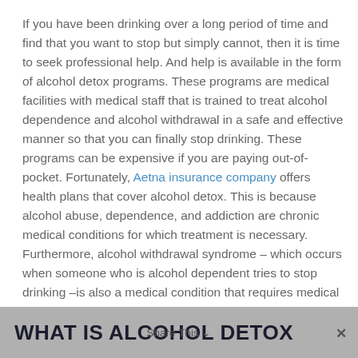If you have been drinking over a long period of time and find that you want to stop but simply cannot, then it is time to seek professional help. And help is available in the form of alcohol detox programs. These programs are medical facilities with medical staff that is trained to treat alcohol dependence and alcohol withdrawal in a safe and effective manner so that you can finally stop drinking. These programs can be expensive if you are paying out-of-pocket. Fortunately, Aetna insurance company offers health plans that cover alcohol detox. This is because alcohol abuse, dependence, and addiction are chronic medical conditions for which treatment is necessary. Furthermore, alcohol withdrawal syndrome – which occurs when someone who is alcohol dependent tries to stop drinking –is also a medical condition that requires medical treatment.
WHAT IS ALCOHOL DETOX